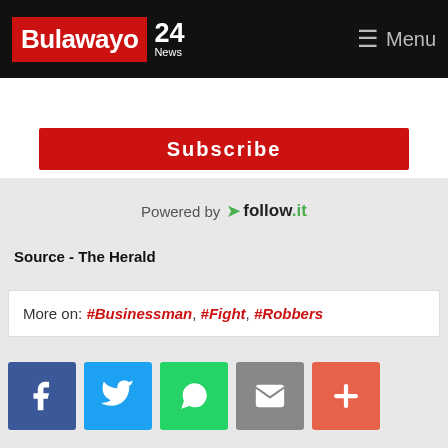Bulawayo 24 News — Menu
[Figure (screenshot): Subscribe button (partially visible, red background)]
Powered by follow.it
Source - The Herald
More on: #Businessman, #Fight, #Robbers
[Figure (infographic): Social share buttons: Facebook, Twitter, WhatsApp, Email, More (+)]